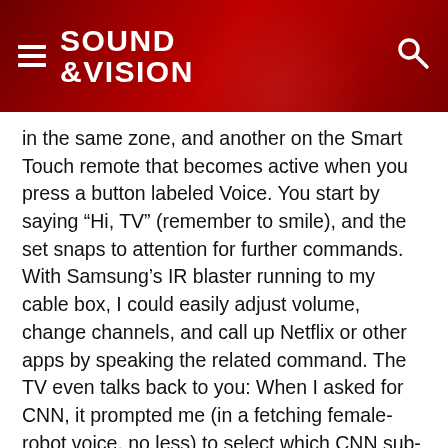SOUND &VISION
in the same zone, and another on the Smart Touch remote that becomes active when you press a button labeled Voice. You start by saying “Hi, TV” (remember to smile), and the set snaps to attention for further commands. With Samsung’s IR blaster running to my cable box, I could easily adjust volume, change channels, and call up Netflix or other apps by speaking the related command. The TV even talks back to you: When I asked for CNN, it prompted me (in a fetching female-robot voice, no less) to select which CNN sub-channel I wanted. There were a few stumbles—a request for weather instead took me to the screen for the Twitter app—but voice control overall worked surprisingly well.